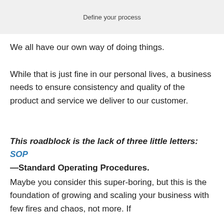Define your process
We all have our own way of doing things.
While that is just fine in our personal lives, a business needs to ensure consistency and quality of the product and service we deliver to our customer.
This roadblock is the lack of three little letters: SOP —Standard Operating Procedures.
Maybe you consider this super-boring, but this is the foundation of growing and scaling your business with few fires and chaos, not more. If